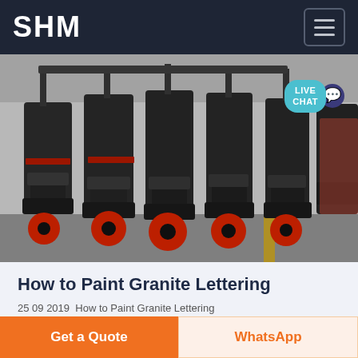SHM
[Figure (photo): A row of large industrial cone crusher machines with black bodies and red wheels lined up in a factory warehouse.]
How to Paint Granite Lettering
25 09 2019  How to Paint Granite Lettering Granite is often used for exterior signs and
Get a Quote
WhatsApp